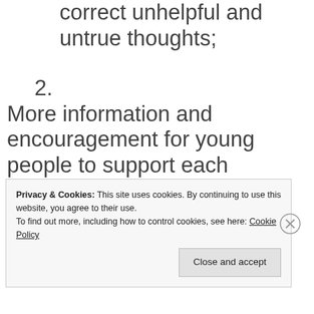correct unhelpful and untrue thoughts;
2. More information and encouragement for young people to support each other in helpful ways with the challenges of everyday life and in tough times
Privacy & Cookies: This site uses cookies. By continuing to use this website, you agree to their use.
To find out more, including how to control cookies, see here: Cookie Policy